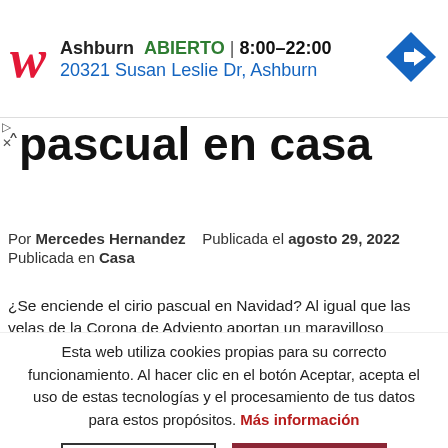[Figure (logo): Walgreens ad banner: red W logo, Ashburn ABIERTO 8:00–22:00, 20321 Susan Leslie Dr, Ashburn, blue navigation arrow icon]
pascual en casa
Por Mercedes Hernandez    Publicada el agosto 29, 2022
Publicada en Casa
¿Se enciende el cirio pascual en Navidad? Al igual que las velas de la Corona de Adviento aportan un maravilloso significado a la
Esta web utiliza cookies propias para su correcto funcionamiento. Al hacer clic en el botón Aceptar, acepta el uso de estas tecnologías y el procesamiento de tus datos para estos propósitos. Más información
RECHAZAR
ACEPTAR